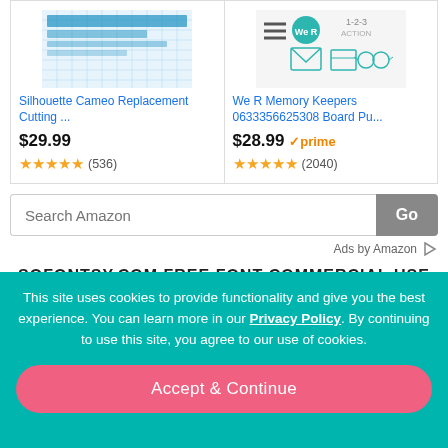[Figure (screenshot): Amazon product card: Silhouette Cameo Replacement Cutting Mat (grid pattern, blue/white). Price $29.99, 4.5 stars, 536 reviews.]
[Figure (screenshot): Amazon product card: We R Memory Keepers 0633356625308 Board Pu... Price $28.99, Prime badge, 4.5 stars, 2040 reviews.]
Silhouette Cameo Replacement Cutting ...
$29.99
(536)
We R Memory Keepers 0633356625308 Board Pu...
$28.99 ✓prime
(2040)
Search Amazon
Go
Ads by Amazon
SOFONTSY.COM FREE FONT COMMERCIAL USE
This site uses cookies to provide functionality and give you the best experience. You can learn more in our Privacy Policy. By continuing to use this site, you agree to our use of cookies.
Accept & Continue